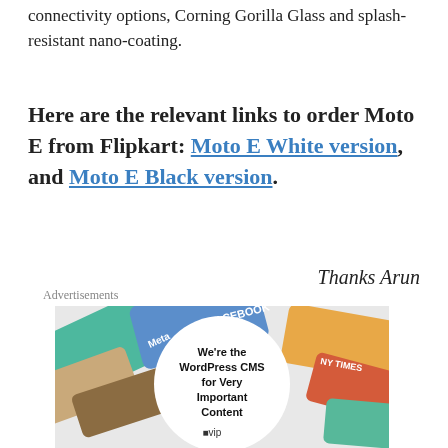connectivity options, Corning Gorilla Glass and splash-resistant nano-coating.
Here are the relevant links to order Moto E from Flipkart: Moto E White version, and Moto E Black version.
Thanks Arun
Advertisements
[Figure (illustration): WordPress VIP advertisement image showing social media brand logos with circular overlay text: We're the WordPress CMS for Very Important Content, with WordPress VIP logo]